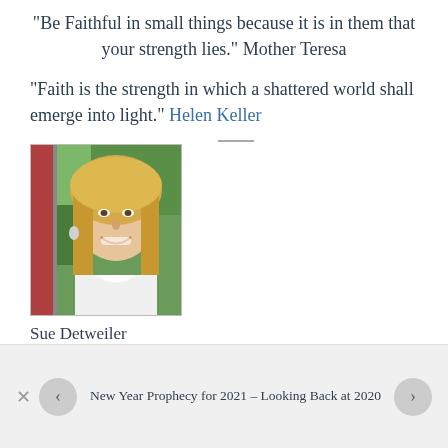“Be Faithful in small things because it is in them that your strength lies.” Mother Teresa
“Faith is the strength in which a shattered world shall emerge into light.” Helen Keller
[Figure (photo): Portrait photo of a smiling blonde woman in a white outfit, outdoors with green foliage background]
Sue Detweiler
New Year Prophecy for 2021 – Looking Back at 2020